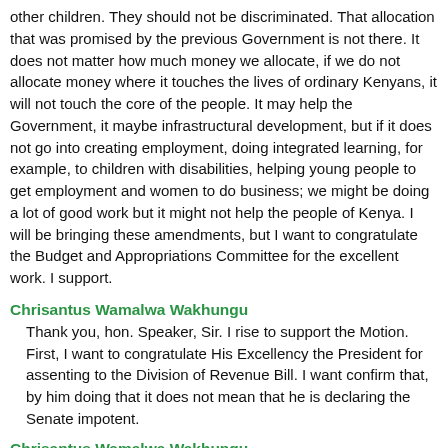other children. They should not be discriminated. That allocation that was promised by the previous Government is not there. It does not matter how much money we allocate, if we do not allocate money where it touches the lives of ordinary Kenyans, it will not touch the core of the people. It may help the Government, it maybe infrastructural development, but if it does not go into creating employment, doing integrated learning, for example, to children with disabilities, helping young people to get employment and women to do business; we might be doing a lot of good work but it might not help the people of Kenya. I will be bringing these amendments, but I want to congratulate the Budget and Appropriations Committee for the excellent work. I support.
Chrisantus Wamalwa Wakhungu
Thank you, hon. Speaker, Sir. I rise to support the Motion. First, I want to congratulate His Excellency the President for assenting to the Division of Revenue Bill. I want confirm that, by him doing that it does not mean that he is declaring the Senate impotent.
Chrisantus Wamalwa Wakhungu
Hon. Speaker, we are here as two Houses to work together as a team. Indeed, Kenya is a signatory to the East African Treaty and we are aware that other countries are supposed to be releasing